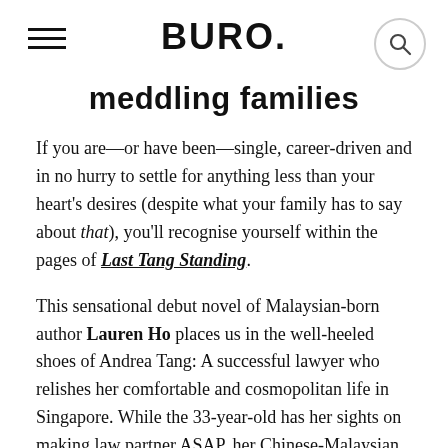BURO.
meddling families
If you are—or have been—single, career-driven and in no hurry to settle for anything less than your heart's desires (despite what your family has to say about that), you'll recognise yourself within the pages of Last Tang Standing.
This sensational debut novel of Malaysian-born author Lauren Ho places us in the well-heeled shoes of Andrea Tang: A successful lawyer who relishes her comfortable and cosmopolitan life in Singapore. While the 33-year-old has her sights on making law partner ASAP, her Chinese-Malaysian family is concerned